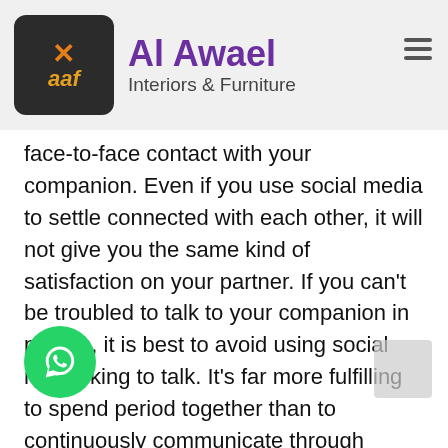[Figure (logo): Al Awael Interiors & Furniture logo with dark square icon containing an X and 'aaf' text, and purple/grey brand name text]
face-to-face contact with your companion. Even if you use social media to settle connected with each other, it will not give you the same kind of satisfaction on your partner. If you can't be troubled to talk to your companion in person, it is best to avoid using social networking to talk. It's far more fulfilling to spend period together than to continuously communicate through electronic means.
The third guideline is that there has to be no hiding of thoughts. Your partner should never feel vulnerable by doing if you're genuine with these people. It's important to understand that you can't change your